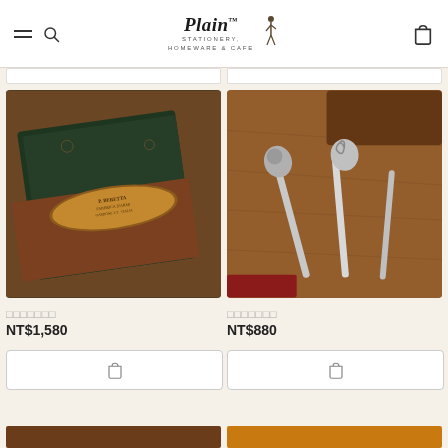Plain Stationery, Homeware & Cafe
[Figure (photo): Close-up photo of a dark green leather-bound notebook with a P. Beretta Fabbrica D'Armi Gardone V.T. Italia bronze oval clip/badge on top of a brown wooden surface]
□□□□□□□
NT$1,580
[Figure (photo): Photo of two ornate silver letter openers with decorative handles (one appears to be a dragon/frog figure, the other a treble clef), placed on a wooden surface with a brown leather case in the background]
□□□□□□□
NT$880